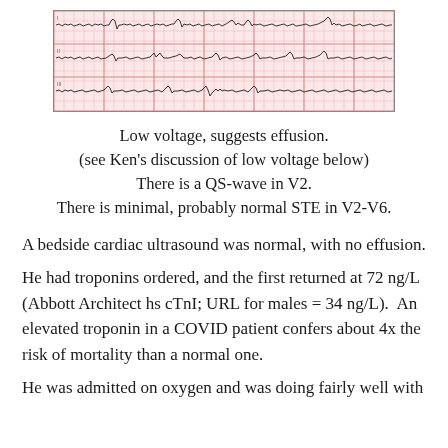[Figure (continuous-plot): ECG tracing showing three rows of cardiac rhythm strips on pink/red graph paper with low voltage waveforms]
Low voltage, suggests effusion.
(see Ken's discussion of low voltage below)
There is a QS-wave in V2.
There is minimal, probably normal STE in V2-V6.
A bedside cardiac ultrasound was normal, with no effusion.
He had troponins ordered, and the first returned at 72 ng/L (Abbott Architect hs cTnI; URL for males = 34 ng/L).  An elevated troponin in a COVID patient confers about 4x the risk of mortality than a normal one.
He was admitted on oxygen and was doing fairly well with